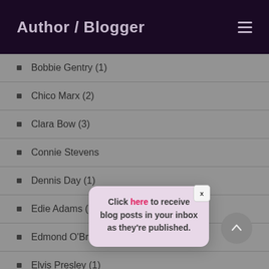Author / Blogger
Bobbie Gentry (1)
Chico Marx (2)
Clara Bow (3)
Connie Stevens
Dennis Day (1)
Edie Adams (1)
Edmond O'Brien (1)
Elvis Presley (1)
[Figure (screenshot): Popup modal with close button (x) and text: Click here to receive blog posts in your inbox as they're published.]